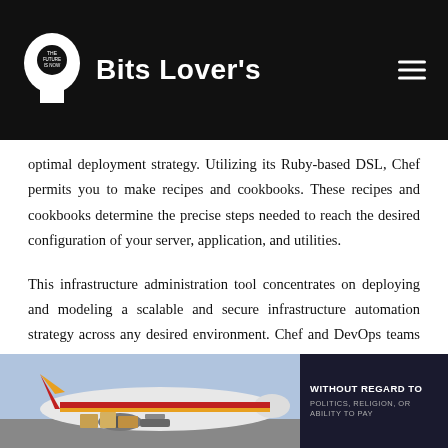Bits Lover's
optimal deployment strategy. Utilizing its Ruby-based DSL, Chef permits you to make recipes and cookbooks. These recipes and cookbooks determine the precise steps needed to reach the desired configuration of your server, application, and utilities.
This infrastructure administration tool concentrates on deploying and modeling a scalable and secure infrastructure automation strategy across any desired environment. Chef and DevOps teams can also configure and deploy on-demand infrastructure pretty quickly. As a result, the chef is one of the most typical configuration management that companies utilize in their continuous integration and delivery processes.
[Figure (photo): Advertisement banner showing cargo aircraft with American Airlines branding and a dark box reading WITHOUT REGARD TO POLITICS, RELIGION, OR ABILITY TO PAY]